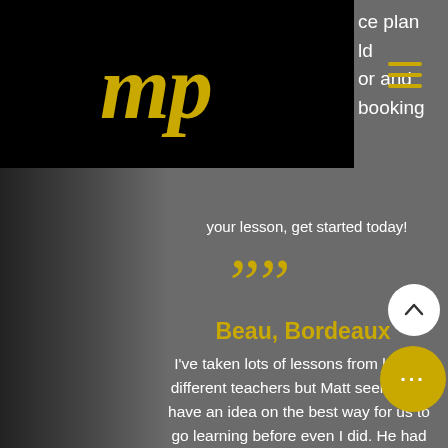[Figure (logo): mp logo in gold/yellow italic script font on black background]
ce plan
ld
or and
booking
your lesson, get started today!
””
Beau, Bordeaux
I've taken lots of lessons from lots of different teachers but Matt seemed to have an idea on the best way for us to go learning before even I did. He had patience, trust and of course a fantastic understanding of music. No showing off and no wasted